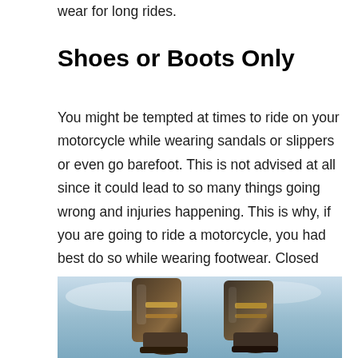wear for long rides.
Shoes or Boots Only
You might be tempted at times to ride on your motorcycle while wearing sandals or slippers or even go barefoot. This is not advised at all since it could lead to so many things going wrong and injuries happening. This is why, if you are going to ride a motorcycle, you had best do so while wearing footwear. Closed shoes would do the trick most of the time, but it would be better to wear boots instead.
[Figure (photo): Photo of motorcycle boots from below, showing two feet/boots against a light blue sky background]